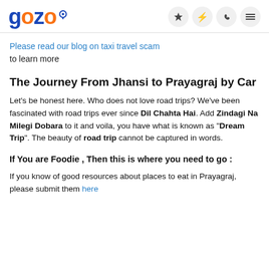gozo [logo with icons]
Please read our blog on taxi travel scam to learn more
The Journey From Jhansi to Prayagraj by Car
Let's be honest here. Who does not love road trips? We've been fascinated with road trips ever since Dil Chahta Hai. Add Zindagi Na Milegi Dobara to it and voila, you have what is known as "Dream Trip". The beauty of road trip cannot be captured in words.
If You are Foodie , Then this is where you need to go :
If you know of good resources about places to eat in Prayagraj, please submit them here